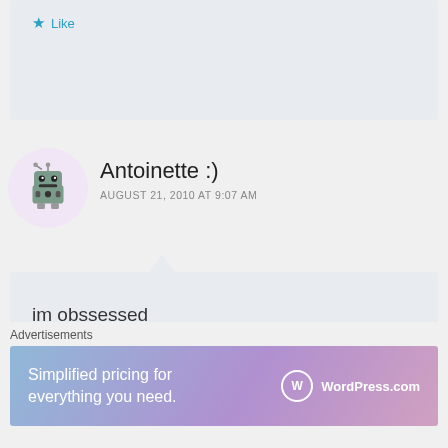★ Like
[Figure (illustration): Antoinette avatar: cartoon robot character in circle]
Antoinette :)
AUGUST 21, 2010 AT 9:07 AM
im obssessed
★ Like
[Figure (illustration): Bl@ke avatar: purple round cartoon character in circle]
Bl@ke
AUGUST 21, 2010 AT 1:38 AM
Advertisements
[Figure (illustration): WordPress.com advertisement banner: Simplified pricing for everything you need.]